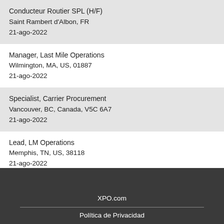Conducteur Routier SPL (H/F)
Saint Rambert d'Albon, FR
21-ago-2022
Manager, Last Mile Operations
Wilmington, MA, US, 01887
21-ago-2022
Specialist, Carrier Procurement
Vancouver, BC, Canada, V5C 6A7
21-ago-2022
Lead, LM Operations
Memphis, TN, US, 38118
21-ago-2022
XPO.com
Política de Privacidad